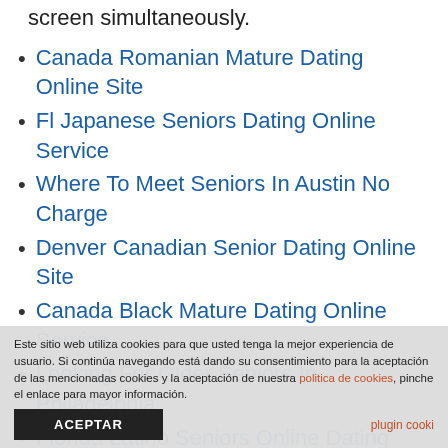some launchers let you place on the home screen simultaneously.
Canada Romanian Mature Dating Online Site
Fl Japanese Seniors Dating Online Service
Where To Meet Seniors In Austin No Charge
Denver Canadian Senior Dating Online Site
Canada Black Mature Dating Online Service
Looking For Older Seniors In Philadelphia
Florida Latino Seniors Online Dating Site
Canada Romanian Mature Dating Online
Este sitio web utiliza cookies para que usted tenga la mejor experiencia de usuario. Si continúa navegando está dando su consentimiento para la aceptación de las mencionadas cookies y la aceptación de nuestra politica de cookies, pinche el enlace para mayor información.
ACEPTAR
plugin cooki